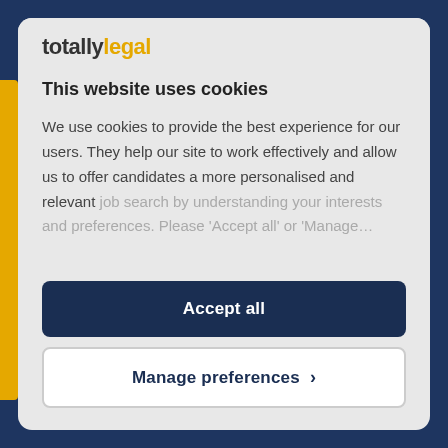[Figure (logo): totallylegal logo with 'totally' in dark grey bold and 'legal' in yellow/gold bold]
This website uses cookies
We use cookies to provide the best experience for our users. They help our site to work effectively and allow us to offer candidates a more personalised and relevant job search by understanding your interests and preferences. Please 'Accept all' or 'Manage...
Accept all
Manage preferences >